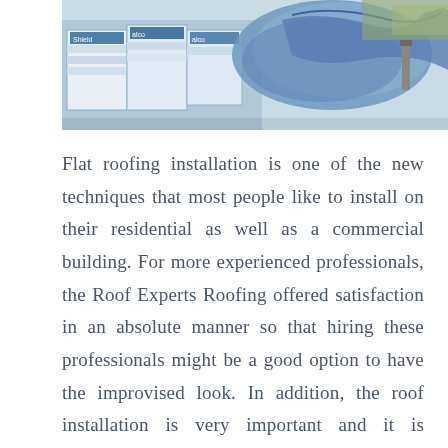[Figure (photo): Photo of roofing materials including boxes of roofing supplies and blue protective sheeting/gloves on a rooftop]
Flat roofing installation is one of the new techniques that most people like to install on their residential as well as a commercial building. For more experienced professionals, the Roof Experts Roofing offered satisfaction in an absolute manner so that hiring these professionals might be a good option to have the improvised look. In addition, the roof installation is very important and it is safeguarding the building from any climatic condition for more years due to How to Turn a Flat Roof into a Deck. They bring you an